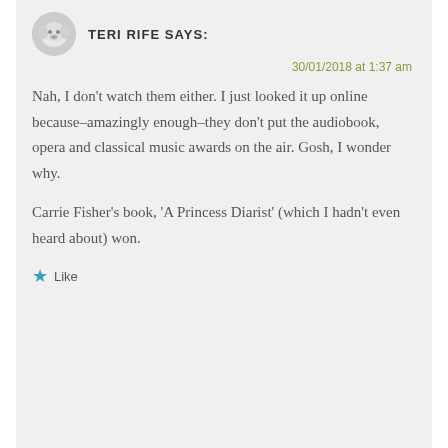TERI RIFE SAYS:
30/01/2018 at 1:37 am
Nah, I don't watch them either. I just looked it up online because–amazingly enough–they don't put the audiobook, opera and classical music awards on the air. Gosh, I wonder why.
Carrie Fisher's book, 'A Princess Diarist' (which I hadn't even heard about) won.
Like